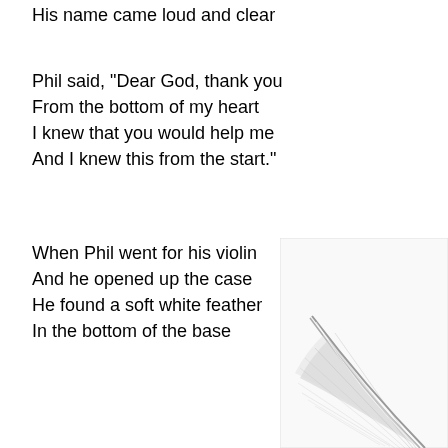His name came loud and clear
Phil said, "Dear God, thank you
From the bottom of my heart
I knew that you would help me
And I knew this from the start."
When Phil went for his violin
And he opened up the case
He found a soft white feather
In the bottom of the base
[Figure (illustration): A soft white feather, partially visible in the bottom-right corner of the page, with grey and white tones.]